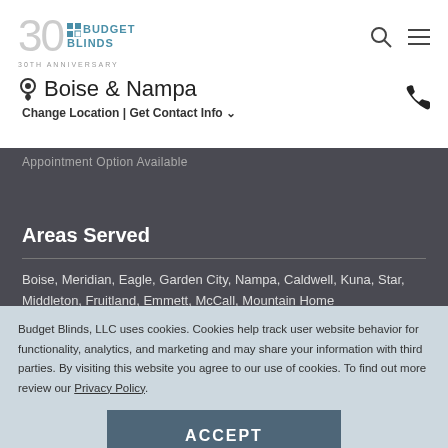Budget Blinds 30th Anniversary
Boise & Nampa
Change Location | Get Contact Info
Appointment Option Available
Areas Served
Boise, Meridian, Eagle, Garden City, Nampa, Caldwell, Kuna, Star, Middleton, Fruitland, Emmett, McCall, Mountain Home
Budget Blinds, LLC uses cookies. Cookies help track user website behavior for functionality, analytics, and marketing and may share your information with third parties. By visiting this website you agree to our use of cookies. To find out more review our Privacy Policy.
ACCEPT